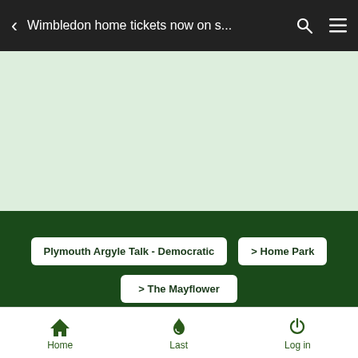Wimbledon home tickets now on s...
[Figure (screenshot): Light green banner/advertisement area]
Plymouth Argyle Talk - Democratic | > Home Park | > The Mayflower
Wimbledon home tickets now on sale for Plymouth game
Home  Last  Log in